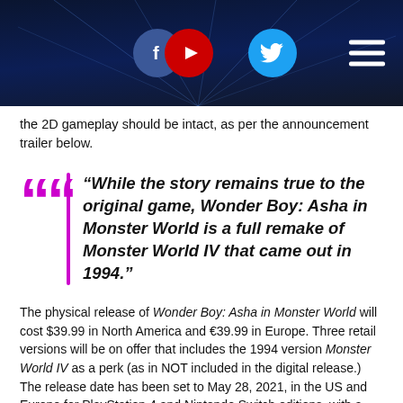[Figure (screenshot): Website header banner with dark blue background, glowing line pattern, three social media icons (Facebook, YouTube, Twitter) in circles, and a hamburger menu icon on the right]
the 2D gameplay should be intact, as per the announcement trailer below.
“While the story remains true to the original game, Wonder Boy: Asha in Monster World is a full remake of Monster World IV that came out in 1994.”
The physical release of Wonder Boy: Asha in Monster World will cost $39.99 in North America and €39.99 in Europe. Three retail versions will be on offer that includes the 1994 version Monster World IV as a perk (as in NOT included in the digital release.) The release date has been set to May 28, 2021, in the US and Europe for PlayStation 4 and Nintendo Switch editions, with a